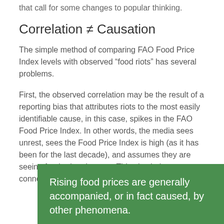that call for some changes to popular thinking.
Correlation ≠ Causation
The simple method of comparing FAO Food Price Index levels with observed “food riots” has several problems.
First, the observed correlation may be the result of a reporting bias that attributes riots to the most easily identifiable cause, in this case, spikes in the FAO Food Price Index. In other words, the media sees unrest, sees the Food Price Index is high (as it has been for the last decade), and assumes they are seeing food-related unrest. This also helps reporters connect local events to an international audience.
Rising food prices are generally accompanied, or in fact caused, by other phenomena.